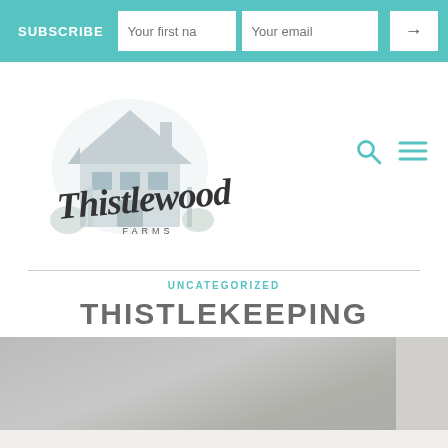SUBSCRIBE  Your first name  Your email  →
[Figure (logo): Thistlewood Farms logo with a farmhouse illustration and script/serif text reading 'Thistlewood FARMS']
UNCATEGORIZED
THISTLEKEEPING
17 Comments
[Figure (photo): Partially visible photograph with gray/neutral tones, appears to be a room or interior scene]